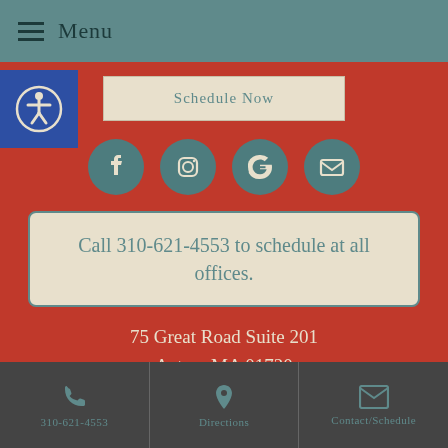Menu
Schedule Now
[Figure (infographic): Social media icons row: Facebook, Instagram, Google, Email — each in a teal circle on red background]
Call 310-621-4553 to schedule at all offices.
75 Great Road Suite 201 Acton, MA 01720
310-621-4553 | Directions | Contact/Schedule